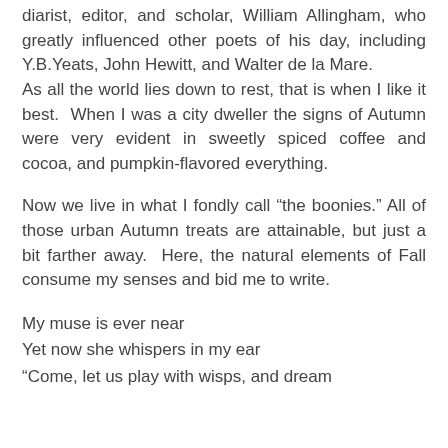diarist, editor, and scholar, William Allingham, who greatly influenced other poets of his day, including Y.B.Yeats, John Hewitt, and Walter de la Mare.
As all the world lies down to rest, that is when I like it best. When I was a city dweller the signs of Autumn were very evident in sweetly spiced coffee and cocoa, and pumpkin-flavored everything.
Now we live in what I fondly call “the boonies.” All of those urban Autumn treats are attainable, but just a bit farther away. Here, the natural elements of Fall consume my senses and bid me to write.
My muse is ever near
Yet now she whispers in my ear
“Come, let us play with wisps, and dream